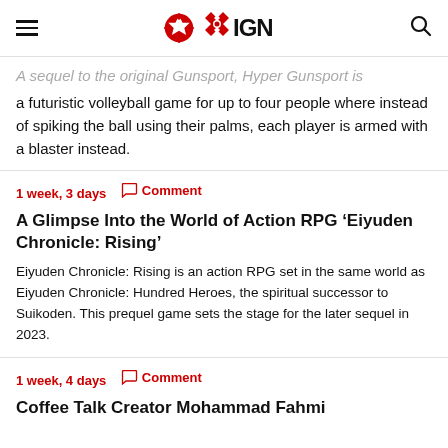IGN
A sequel to the original Gunsport, Hyper Gunsport is a futuristic volleyball game for up to four people where instead of spiking the ball using their palms, each player is armed with a blaster instead.
1 week, 3 days  Comment
A Glimpse Into the World of Action RPG ‘Eiyuden Chronicle: Rising’
Eiyuden Chronicle: Rising is an action RPG set in the same world as Eiyuden Chronicle: Hundred Heroes, the spiritual successor to Suikoden. This prequel game sets the stage for the later sequel in 2023.
1 week, 4 days  Comment
Coffee Talk Creator Mohammad Fahmi